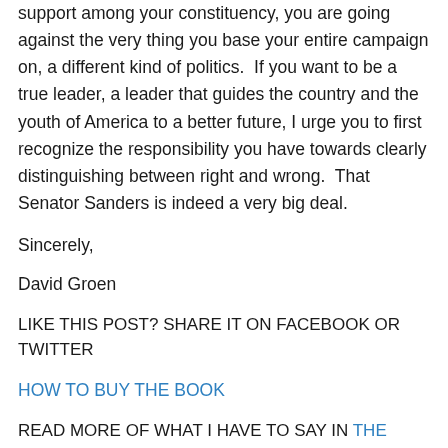support among your constituency, you are going against the very thing you base your entire campaign on, a different kind of politics.  If you want to be a true leader, a leader that guides the country and the youth of America to a better future, I urge you to first recognize the responsibility you have towards clearly distinguishing between right and wrong.  That Senator Sanders is indeed a very big deal.
Sincerely,
David Groen
LIKE THIS POST? SHARE IT ON FACEBOOK OR TWITTER
HOW TO BUY THE BOOK
READ MORE OF WHAT I HAVE TO SAY IN THE DAILY